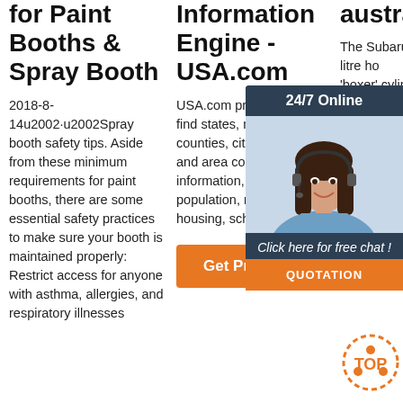for Paint Booths & Spray Booth
2018-8-14u2002·u2002Spray booth safety tips. Aside from these minimum requirements for paint booths, there are some essential safety practices to make sure your booth is maintained properly: Restrict access for anyone with asthma, allergies, and respiratory illnesses
Information Engine - USA.com
USA.com provides easy to find states, metro areas, counties, cities, zip codes, and area codes information, including population, races, income, housing, school ...
[Figure (other): Get Price orange button]
australiancar.re
The Subaru EJ204 was a 2.0-litre horizontally-opposed 'boxer' four-cylinder engine with double overhead camshafts. Naturally, E204 engine was initially introduced in the 2004 Subaru Impreza and 2006 Subaru BL/BP Liberty as a more powerful alternative to the single overhead
[Figure (other): 24/7 Online chat widget with woman wearing headset, Click here for free chat!, QUOTATION button, and TOP orange badge]